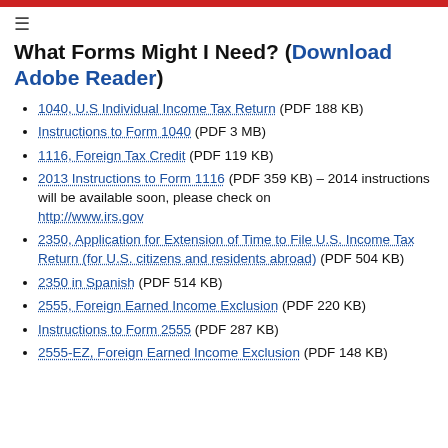≡
What Forms Might I Need? (Download Adobe Reader)
1040, U.S Individual Income Tax Return (PDF 188 KB)
Instructions to Form 1040 (PDF 3 MB)
1116, Foreign Tax Credit (PDF 119 KB)
2013 Instructions to Form 1116 (PDF 359 KB) – 2014 instructions will be available soon, please check on http://www.irs.gov
2350, Application for Extension of Time to File U.S. Income Tax Return (for U.S. citizens and residents abroad) (PDF 504 KB)
2350 in Spanish (PDF 514 KB)
2555, Foreign Earned Income Exclusion (PDF 220 KB)
Instructions to Form 2555 (PDF 287 KB)
2555-EZ, Foreign Earned Income Exclusion (PDF 148 KB)